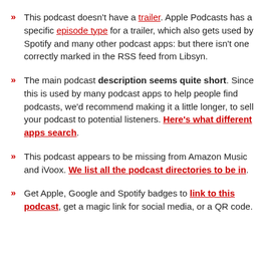This podcast doesn't have a trailer. Apple Podcasts has a specific episode type for a trailer, which also gets used by Spotify and many other podcast apps: but there isn't one correctly marked in the RSS feed from Libsyn.
The main podcast description seems quite short. Since this is used by many podcast apps to help people find podcasts, we'd recommend making it a little longer, to sell your podcast to potential listeners. Here's what different apps search.
This podcast appears to be missing from Amazon Music and iVoox. We list all the podcast directories to be in.
Get Apple, Google and Spotify badges to link to this podcast, get a magic link for social media, or a QR code.